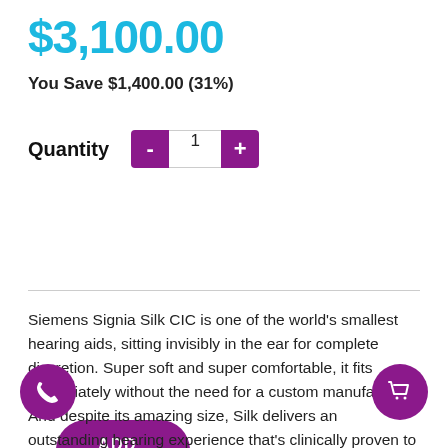$3,100.00
You Save $1,400.00 (31%)
Quantity  -  1  +
ADD TO CART
Siemens Signia Silk CIC is one of the world's smallest hearing aids, sitting invisibly in the ear for complete discretion. Super soft and super comfortable, it fits immediately without the need for a custom manufacture. And despite its amazing size, Silk delivers an outstanding hearing experience that's clinically proven to reduce listening effort.